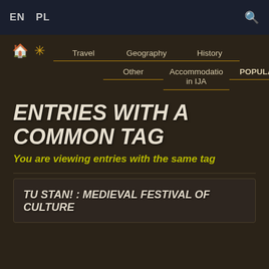EN  PL
Travel  Geography  History  Other  Accommodation in IJA  POPULAR
ENTRIES WITH A COMMON TAG
You are viewing entries with the same tag
TU STAN! : MEDIEVAL FESTIVAL OF CULTURE